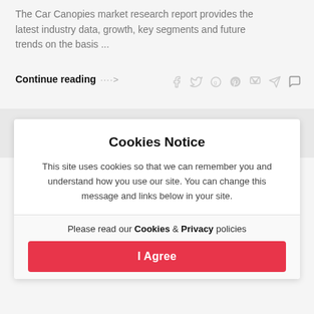The Car Canopies market research report provides the latest industry data, growth, key segments and future trends on the basis ...
Continue reading ---->
[Figure (illustration): Social share icons: Facebook, Twitter, Google, Pinterest, Pocket, Telegram, Comment]
Cookies Notice
This site uses cookies so that we can remember you and understand how you use our site. You can change this message and links below in your site.
Please read our Cookies & Privacy policies
I Agree